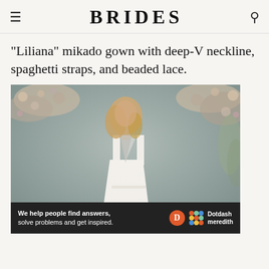BRIDES
"Liliana" mikado gown with deep-V neckline, spaghetti straps, and beaded lace.
[Figure (photo): A model wearing a white mikado gown with a deep-V neckline, spaghetti straps, photographed against a grey background with floral arrangements]
We help people find answers, solve problems and get inspired. Dotdash meredith